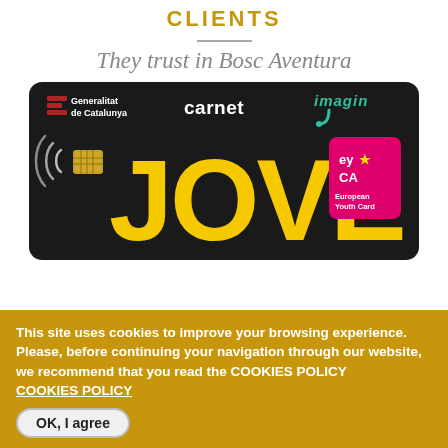CLIENTS
They trust in Bosc Aventura
[Figure (photo): Carnet Jove card from Generalitat de Catalunya with Imagin bank branding and European Youth Card (EYCA) logo, black background with large yellow 'JOVE' text]
This site uses cookies to improve your browsing experience. Please, before continuing your navigation through our website, we recommend that you read the COOKIES POLICY
COOKIES POLICY
OK, I agree